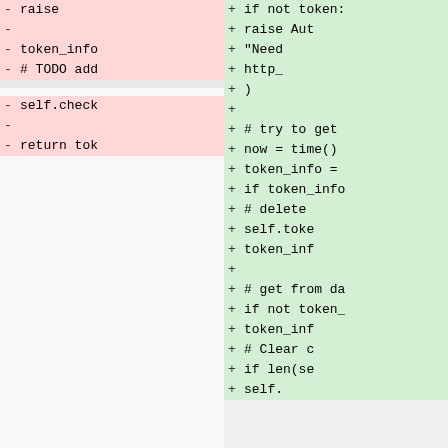[Figure (screenshot): A code diff view showing removed lines (red background, left column) and added lines (green background, right column). Left side shows removed lines: raise, (blank), token_info, # TODO add, (separator), self.check, (blank), return tok. Right side shows added lines: if not token:, raise Aut, "Need, http_, ), (blank), # try to get, now = time(), token_info =, if token_info, # delete, self.toke, token_inf, (blank), # get from da, if not token_, token_inf, # Clear c, if len(se, self.]